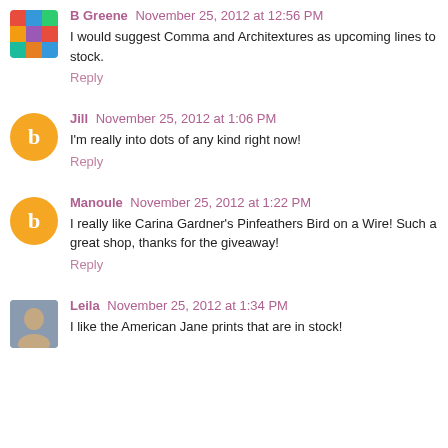B Greene  November 25, 2012 at 12:56 PM
I would suggest Comma and Architextures as upcoming lines to stock.
Reply
Jill  November 25, 2012 at 1:06 PM
I'm really into dots of any kind right now!
Reply
Manoule  November 25, 2012 at 1:22 PM
I really like Carina Gardner's Pinfeathers Bird on a Wire! Such a great shop, thanks for the giveaway!
Reply
Leila  November 25, 2012 at 1:34 PM
I like the American Jane prints that are in stock!